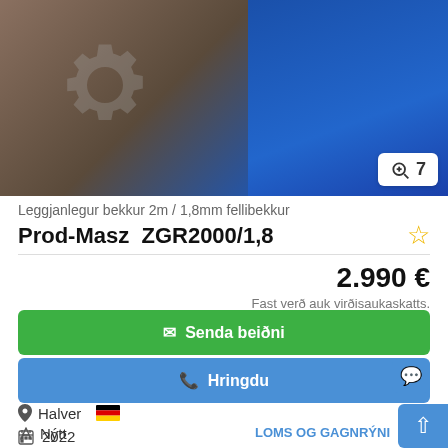[Figure (photo): Photo of a blue industrial rolling/folding bench machine (Prod-Masz ZGR2000/1,8) on a brick floor, with a gear watermark overlay and a badge showing '7' images]
Leggjanlegur bekkur 2m / 1,8mm fellibekkur
Prod-Masz  ZGR2000/1,8
2.990 €
Fast verð auk virðisaukaskatts.
✉ Senda beiðni
✆ Hringdu
Halver 🇩🇪
2022
Nýtt
LOMS OG GAGNRÝNI